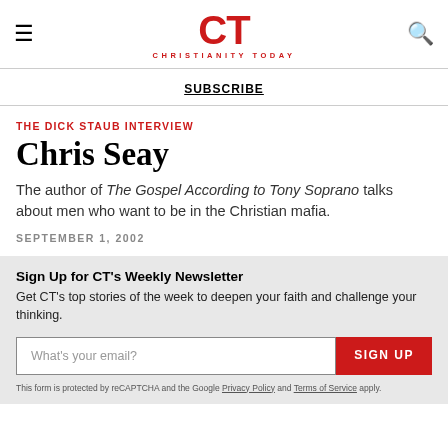CT CHRISTIANITY TODAY
SUBSCRIBE
THE DICK STAUB INTERVIEW
Chris Seay
The author of The Gospel According to Tony Soprano talks about men who want to be in the Christian mafia.
SEPTEMBER 1, 2002
Sign Up for CT's Weekly Newsletter
Get CT's top stories of the week to deepen your faith and challenge your thinking.
What's your email?
SIGN UP
This form is protected by reCAPTCHA and the Google Privacy Policy and Terms of Service apply.